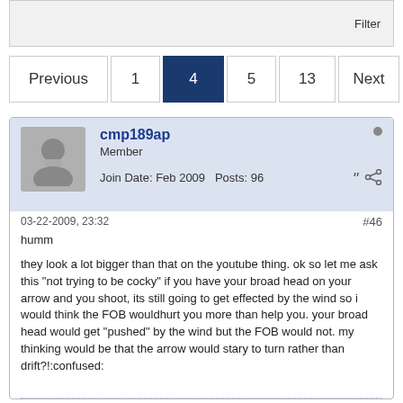Filter
Previous  1  4  5  13  Next
cmp189ap
Member
Join Date: Feb 2009  Posts: 96
03-22-2009, 23:32
#46
humm

they look a lot bigger than that on the youtube thing. ok so let me ask this "not trying to be cocky" if you have your broad head on your arrow and you shoot, its still going to get effected by the wind so i would think the FOB wouldhurt you more than help you. your broad head would get "pushed" by the wind but the FOB would not. my thinking would be that the arrow would stary to turn rather than drift?!:confused: